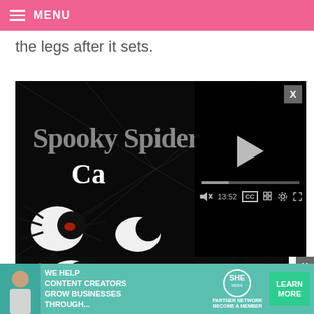MENU
the legs after it sets.
[Figure (screenshot): Video player showing 'Spooky Spider Cake' tutorial video. The video shows black spider cakes on white cake pops against a dark background. A video overlay panel on the right shows a play button, progress bar at 13:52, and video controls including mute, CC, grid, settings, and fullscreen buttons. An X close button appears in the top right of the overlay.]
[Figure (photo): Bottom portion showing spider cake decorations - black spiders on white round cake pops, partially visible at bottom edge.]
WE HELP CONTENT CREATORS GROW BUSINESSES THROUGH... | SHE PARTNER NETWORK BECOME A MEMBER | LEARN MORE